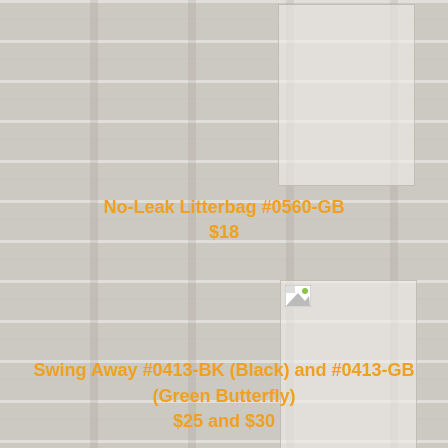[Figure (photo): Product image placeholder for No-Leak Litterbag #0560-GB, shown as a white/grey rectangle with border]
No-Leak Litterbag #0560-GB
$18
[Figure (photo): Product image placeholder for Swing Away #0413-BK and #0413-GB, shown as a white/grey rectangle with border and broken image icon]
Swing Away #0413-BK (Black) and #0413-GB (Green Butterfly)
$25 and $30